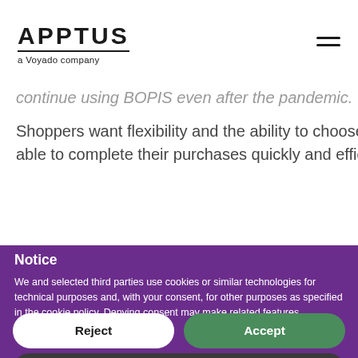APPTUS a Voyado company
continue using BOPIS even after the pandemic.
Shoppers want flexibility and the ability to choose for the… able to complete their purchases quickly and efficiently.
Notice
We and selected third parties use cookies or similar technologies for technical purposes and, with your consent, for other purposes as specified in the cookie policy. Denying consent may make related features unavailable.
Reject
Accept
Learn more and customize